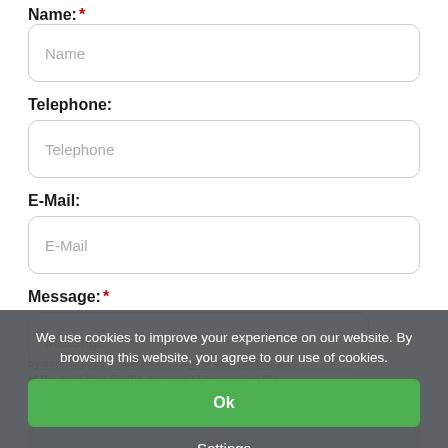Name: *
[Figure (screenshot): Name input field with placeholder text 'Name']
Telephone:
[Figure (screenshot): Telephone input field with placeholder text 'Telephone']
E-Mail:
[Figure (screenshot): E-Mail input field with placeholder text 'E-Mail']
Message: *
[Figure (screenshot): Message textarea with placeholder text 'Message']
We use cookies to improve your experience on our website. By browsing this website, you agree to our use of cookies.
Ok
Settings
Send
More Info